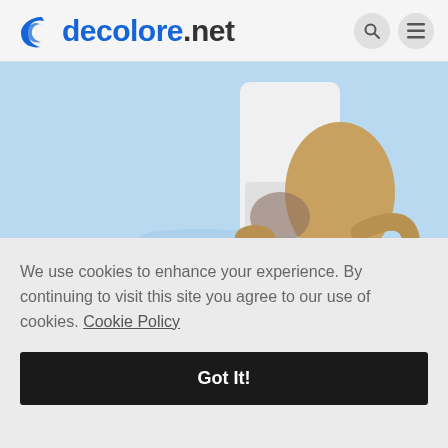decolore.net
[Figure (illustration): Partial illustration of a cute cartoon cat or animal sitting on a light blue background, showing lower body/tail only, cropped at top]
We'll go through a fun and easy process of creating a cute
We use cookies to enhance your experience. By continuing to visit this site you agree to our use of cookies. Cookie Policy
Got It!